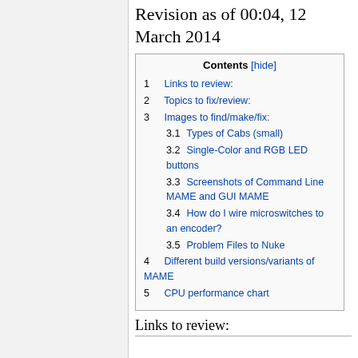Revision as of 00:04, 12 March 2014
Contents [hide]
1  Links to review:
2  Topics to fix/review:
3  Images to find/make/fix:
3.1  Types of Cabs (small)
3.2  Single-Color and RGB LED buttons
3.3  Screenshots of Command Line MAME and GUI MAME
3.4  How do I wire microswitches to an encoder?
3.5  Problem Files to Nuke
4  Different build versions/variants of MAME
5  CPU performance chart
Links to review: